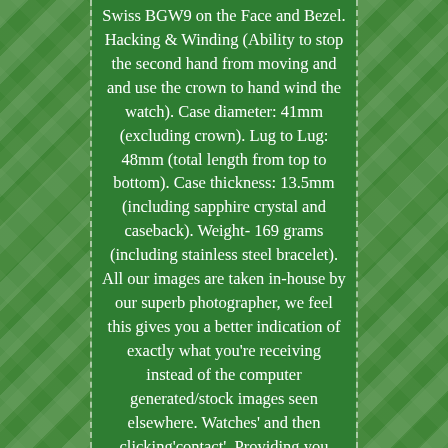Swiss BGW9 on the Face and Bezel. Hacking & Winding (Ability to stop the second hand from moving and and use the crown to hand wind the watch). Case diameter: 41mm (excluding crown). Lug to Lug: 48mm (total length from top to bottom). Case thickness: 13.5mm (including sapphire crystal and caseback). Weight- 169 grams (including stainless steel bracelet). All our images are taken in-house by our superb photographer, we feel this gives you a better indication of exactly what you're receiving instead of the computer generated/stock images seen elsewhere. Watches' and then clicking'contact'. Providing you haven't used the item and it's still in it's original packaging and condition (as we sent it) then return it within 14 days. Order before 4pm and receive the very next day. NH35-Watches are a new company with a big drive to bring the UK an opportunity to own a luxury watch for a modest price. Let us know how we're getting